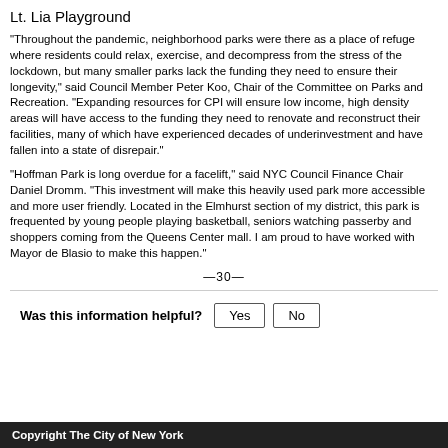Lt. Lia Playground
"Throughout the pandemic, neighborhood parks were there as a place of refuge where residents could relax, exercise, and decompress from the stress of the lockdown, but many smaller parks lack the funding they need to ensure their longevity," said Council Member Peter Koo, Chair of the Committee on Parks and Recreation. "Expanding resources for CPI will ensure low income, high density areas will have access to the funding they need to renovate and reconstruct their facilities, many of which have experienced decades of underinvestment and have fallen into a state of disrepair."
"Hoffman Park is long overdue for a facelift," said NYC Council Finance Chair Daniel Dromm. "This investment will make this heavily used park more accessible and more user friendly. Located in the Elmhurst section of my district, this park is frequented by young people playing basketball, seniors watching passerby and shoppers coming from the Queens Center mall. I am proud to have worked with Mayor de Blasio to make this happen."
—30—
Was this information helpful?
Copyright The City of New York